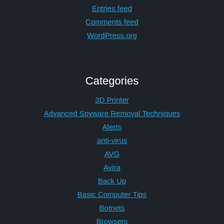Entries feed
Comments feed
WordPress.org
Categories
3D Printer
Advanced Spyware Removal Techniques
Alerts
anti-virus
AVG
Avira
Back Up
Basic Computer Tips
Botnets
Browsers
Business Goals